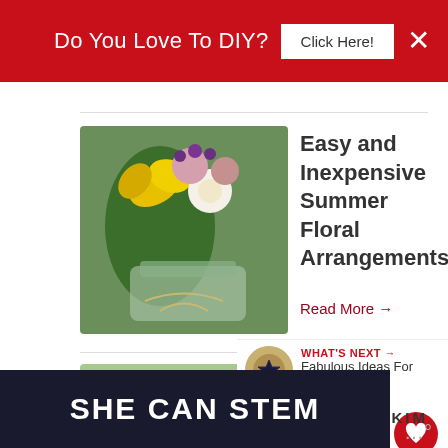Do You Love To DIY? Click Here!
[Figure (photo): Floral arrangement in a mason jar with yellow and white flowers]
Easy and Inexpensive Summer Floral Arrangements
Read More →
[Figure (photo): Patriotic ribbon wreath with red bow on white chair outdoors]
Patriotic Ribbon Wreath
Read More →
WHAT'S NEXT → Fabulous Ideas For Th...
BY KIM
[Figure (screenshot): SHE CAN STEM advertisement banner]